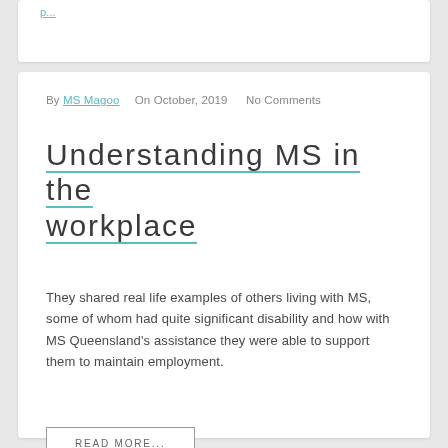By MS Magoo   On October, 2019   No Comments
Understanding MS in the workplace
They shared real life examples of others living with MS, some of whom had quite significant disability and how with MS Queensland's assistance they were able to support them to maintain employment.
READ MORE...